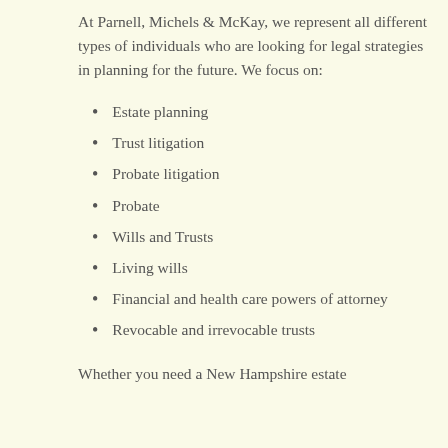At Parnell, Michels & McKay, we represent all different types of individuals who are looking for legal strategies in planning for the future. We focus on:
Estate planning
Trust litigation
Probate litigation
Probate
Wills and Trusts
Living wills
Financial and health care powers of attorney
Revocable and irrevocable trusts
Whether you need a New Hampshire estate